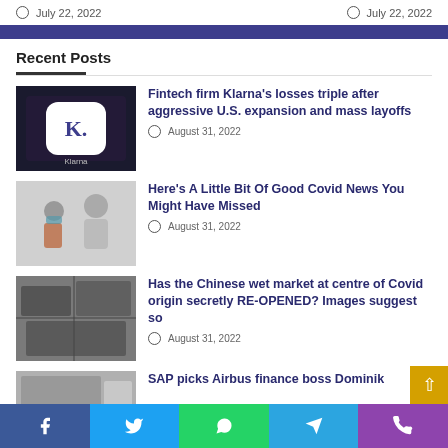July 22, 2022   July 22, 2022
Recent Posts
[Figure (photo): Klarna app logo on dark background]
Fintech firm Klarna’s losses triple after aggressive U.S. expansion and mass layoffs
August 31, 2022
[Figure (photo): Doctor and patient with mask]
Here’s A Little Bit Of Good Covid News You Might Have Missed
August 31, 2022
[Figure (photo): Aerial view of Chinese wet market]
Has the Chinese wet market at centre of Covid origin secretly RE-OPENED? Images suggest so
August 31, 2022
[Figure (photo): Partial photo of building/scene]
SAP picks Airbus finance boss Dominik